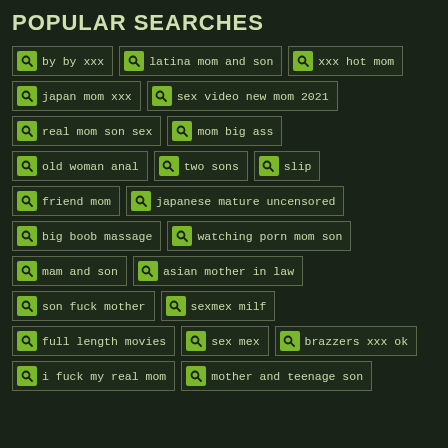POPULAR SEARCHES
by by xxx
latina mom and son
xxx hot mom
japan mom xxx
sex video new mom 2021
real mom son sex
mom big ass
old woman anal
two sons
slip
friend mom
japanese mature uncensored
big boob massage
watching porn mom son
mam and son
asian mother in law
son fuck mother
sexmex milf
full length movies
sex mex
brazzers xxx ok
i fuck my real mom
mother and teenage son